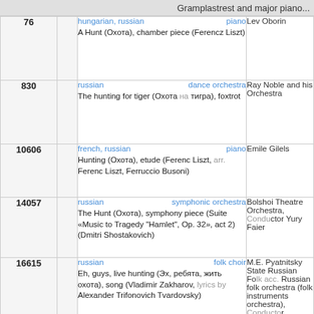Gramplastrest and major piano...
| # |  | Description | Artist |
| --- | --- | --- | --- |
| 76 |  | hungarian, russian | piano
A Hunt (Охота), chamber piece (Ferencz Liszt) | Lev Oborin |
| 830 |  | russian | dance orchestra
The hunting for tiger (Охота на тигра), foxtrot | Ray Noble and his Orchestra |
| 10606 |  | french, russian | piano
Hunting (Охота), etude (Ferenc Liszt, arr. Ferenc Liszt, Ferruccio Busoni) | Emile Gilels |
| 14057 |  | russian | symphonic orchestra
The Hunt (Охота), symphony piece (Suite «Music to Tragedy "Hamlet", Op. 32», act 2) (Dmitri Shostakovich) | Bolshoi Theatre Orchestra, Conductor Yury Faier |
| 16615 |  | russian | folk choir
Eh, guys, live hunting (Эх, ребята, жить охота), song (Vladimir Zakharov, lyrics by Alexander Trifonovich Tvardovsky) | M.E. Pyatnitsky State Russian Folk Choir, acc. Russian folk orchestra (folk instruments orchestra), Conductor Vladimir Zakharov, Petr Kazmin, V. Khvatov |
|  |  | russian | piano
September. Hunting (Сентябр... |  |